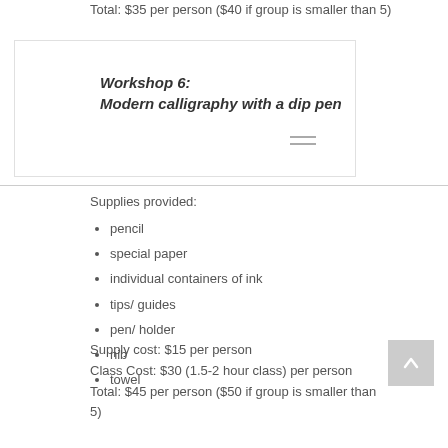Total: $35 per person ($40 if group is smaller than 5)
[Figure (logo): Ashley Keylor logo box with name in large grey letters]
Workshop 6: Modern calligraphy with a dip pen
Supplies provided:
pencil
special paper
individual containers of ink
tips/ guides
pen/ holder
nib
towel
Supply cost: $15 per person
Class Cost: $30 (1.5-2 hour class) per person
Total: $45 per person ($50 if group is smaller than 5)